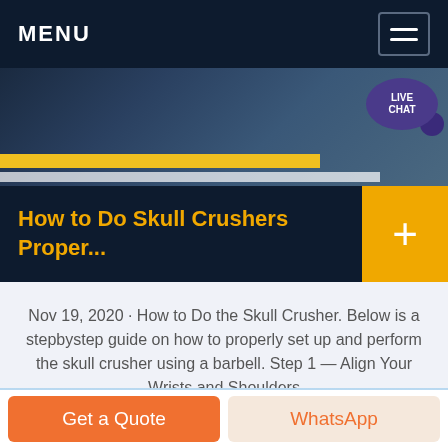MENU
[Figure (photo): Dark industrial image showing metal surface with yellow and white stripes, with a Live Chat bubble overlay in the top right corner]
How to Do Skull Crushers Proper...
Nov 19, 2020 · How to Do the Skull Crusher. Below is a stepbystep guide on how to properly set up and perform the skull crusher using a barbell. Step 1 — Align Your Wrists and Shoulders
[Figure (photo): Partial blue sky image visible at the bottom of the page]
Get a Quote
WhatsApp